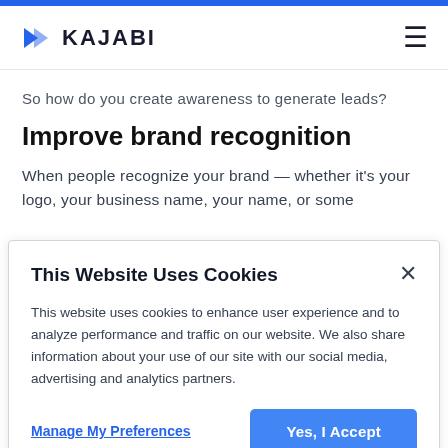KAJABI
So how do you create awareness to generate leads?
Improve brand recognition
When people recognize your brand — whether it's your logo, your business name, your name, or some
This Website Uses Cookies
This website uses cookies to enhance user experience and to analyze performance and traffic on our website. We also share information about your use of our site with our social media, advertising and analytics partners.
Manage My Preferences | Yes, I Accept